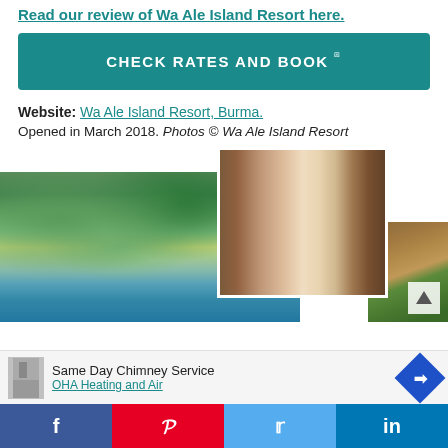Read our review of Wa Ale Island Resort here.
CHECK RATES AND BOOK
Website: Wa Ale Island Resort, Burma.
Opened in March 2018. Photos © Wa Ale Island Resort
[Figure (photo): Collage of three photos: aerial view of Wa Ale Island showing green hills, beach and blue sea; a resort bedroom with canopy bed and white drapes; a close-up of tropical resort thatched roof]
Same Day Chimney Service
OHA Heating and Air
f  p  t  in (social share bar)